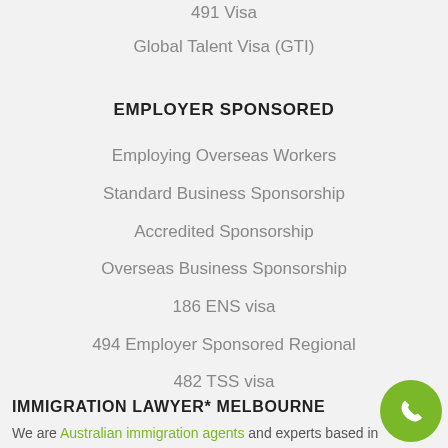491 Visa
Global Talent Visa (GTI)
EMPLOYER SPONSORED
Employing Overseas Workers
Standard Business Sponsorship
Accredited Sponsorship
Overseas Business Sponsorship
186 ENS visa
494 Employer Sponsored Regional
482 TSS visa
IMMIGRATION LAWYER* MELBOURNE
We are Australian immigration agents and experts based in